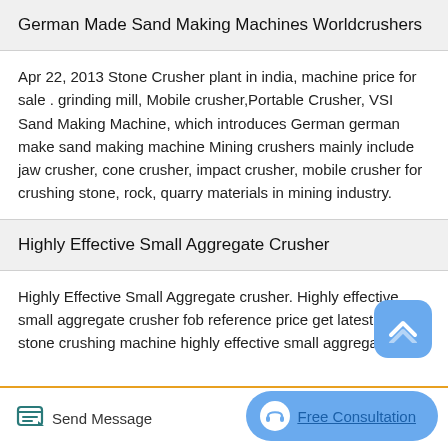German Made Sand Making Machines Worldcrushers
Apr 22, 2013 Stone Crusher plant in india, machine price for sale . grinding mill, Mobile crusher,Portable Crusher, VSI Sand Making Machine, which introduces German german make sand making machine Mining crushers mainly include jaw crusher, cone crusher, impact crusher, mobile crusher for crushing stone, rock, quarry materials in mining industry.
Highly Effective Small Aggregate Crusher
Highly Effective Small Aggregate crusher. Highly effective small aggregate crusher fob reference price get latest price stone crushing machine highly effective small aggregate crusher…
Send Message   Free Consultation